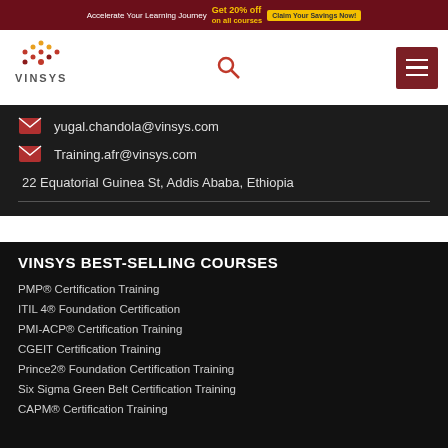Accelerate Your Learning Journey  Get 20% off on all courses  Claim Your Savings Now!
[Figure (logo): Vinsys logo with orange/red dot-grid chevron pattern above the text VINSYS]
yugal.chandola@vinsys.com
Training.afr@vinsys.com
22 Equatorial Guinea St, Addis Ababa, Ethiopia
VINSYS BEST-SELLING COURSES
PMP® Certification Training
ITIL 4® Foundation Certification
PMI-ACP® Certification Training
CGEIT Certification Training
Prince2® Foundation Certification Training
Six Sigma Green Belt Certification Training
CAPM® Certification Training